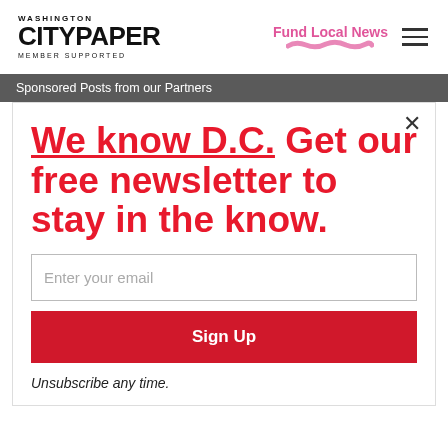[Figure (logo): Washington City Paper logo with 'MEMBER SUPPORTED' text below]
Fund Local News
Sponsored Posts from our Partners
We know D.C. Get our free newsletter to stay in the know.
Enter your email
Sign Up
Unsubscribe any time.